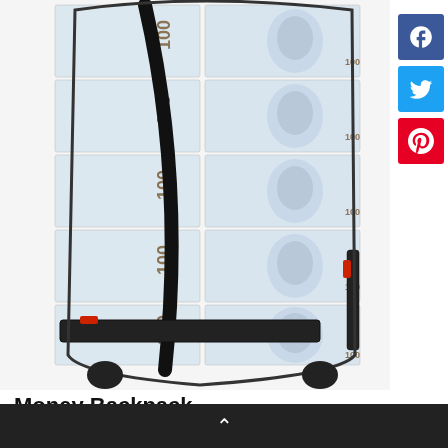[Figure (photo): A backpack covered in a repeating print of $100 US dollar bills with Benjamin Franklin's face, black straps and red zipper accents, photographed on a white background.]
Money Backpack
^